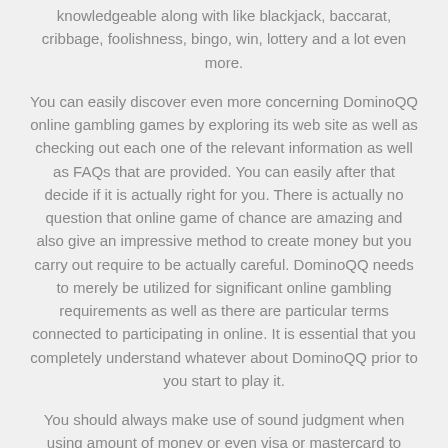knowledgeable along with like blackjack, baccarat, cribbage, foolishness, bingo, win, lottery and a lot even more.
You can easily discover even more concerning DominoQQ online gambling games by exploring its web site as well as checking out each one of the relevant information as well as FAQs that are provided. You can easily after that decide if it is actually right for you. There is actually no question that online game of chance are amazing and also give an impressive method to create money but you carry out require to be actually careful. DominoQQ needs to merely be utilized for significant online gambling requirements as well as there are particular terms connected to participating in online. It is essential that you completely understand whatever about DominoQQ prior to you start to play it.
You should always make use of sound judgment when using amount of money or even visa or mastercard to purchase online. If you are uncertain of what you are